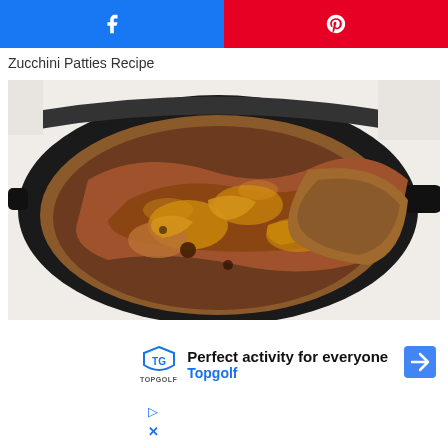[Figure (screenshot): Social share buttons row: Facebook (blue) and Pinterest (red)]
Zucchini Patties Recipe
[Figure (photo): Close-up photo of meat cooking in a cast iron skillet with caramelized onions and brown gravy sauce]
[Figure (screenshot): Advertisement banner: Topgolf logo with text 'Perfect activity for everyone Topgolf', navigation arrow icon, and ad controls]
Perfect activity for everyone
Topgolf